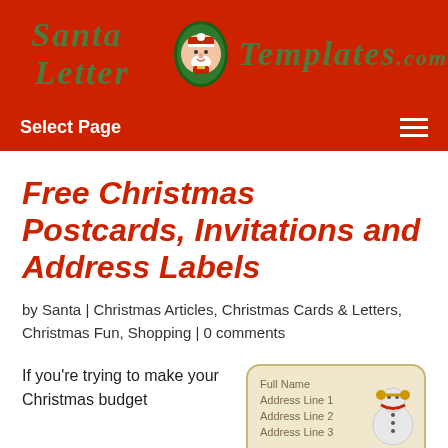Santa Letter Templates.com
Select Page
Free Christmas Postcards, Invitations and Address Labels
by Santa | Christmas Articles, Christmas Cards & Letters, Christmas Fun, Shopping | 0 comments
If you're trying to make your Christmas budget stretch to fund...